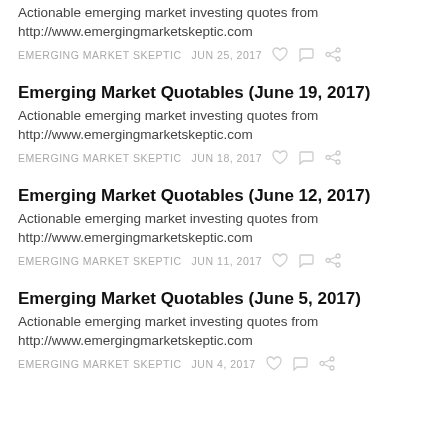Actionable emerging market investing quotes from http://www.emergingmarketskeptic.com
EMERGING MARKET SKEPTIC   JUN 25, 2017
Emerging Market Quotables (June 19, 2017)
Actionable emerging market investing quotes from http://www.emergingmarketskeptic.com
EMERGING MARKET SKEPTIC   JUN 18, 2017
Emerging Market Quotables (June 12, 2017)
Actionable emerging market investing quotes from http://www.emergingmarketskeptic.com
EMERGING MARKET SKEPTIC   JUN 11, 2017
Emerging Market Quotables (June 5, 2017)
Actionable emerging market investing quotes from http://www.emergingmarketskeptic.com
EMERGING MARKET SKEPTIC   JUN 4, 2017